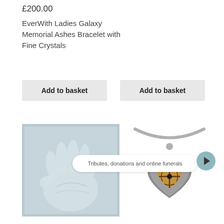£200.00
EverWith Ladies Galaxy Memorial Ashes Bracelet with Fine Crystals
Add to basket
Add to basket
[Figure (photo): Hand plaster cast memorial impression on blue-grey background]
[Figure (photo): Silver and gold heart-shaped memorial necklace pendant on chain]
Tributes, donations and online funerals